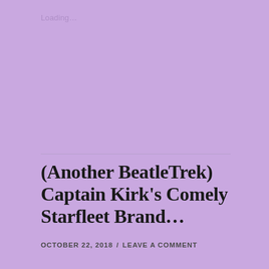Loading...
(Another BeatleTrek) Captain Kirk's Comely Starfleet Brand...
OCTOBER 22, 2018  /  LEAVE A COMMENT
Hi Everyone,
Here's an idea I've had for a LONG time and I finally got it to come to fruition.  As I'm sure many of you have seen, in the past I have made many silly collages which combine the two best pop culture phenomenons of the 1960's: Star Trek and The Beatles!. You can see my